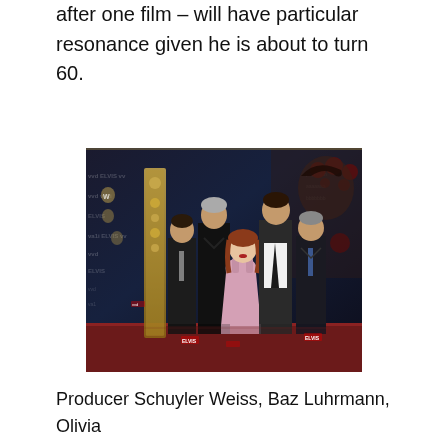after one film – will have particular resonance given he is about to turn 60.
[Figure (photo): Group photo of five people at an Elvis movie premiere event, standing in front of a branded backdrop featuring ELVIS logos, Warner Bros shields, and decorative patterns. From left: a man in a dark suit, Baz Luhrmann in black, a young woman in a pink dress, a tall young man in a white open-collar shirt, and Tom Hanks in a dark suit.]
Producer Schuyler Weiss, Baz Luhrmann, Olivia